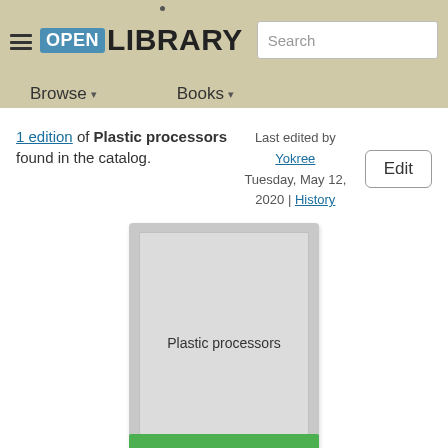Open Library — Browse, Books, Search
1 edition of Plastic processors found in the catalog.
Last edited by Yokree
Tuesday, May 12, 2020 | History
Edit
[Figure (illustration): Placeholder book cover image with text 'Plastic processors']